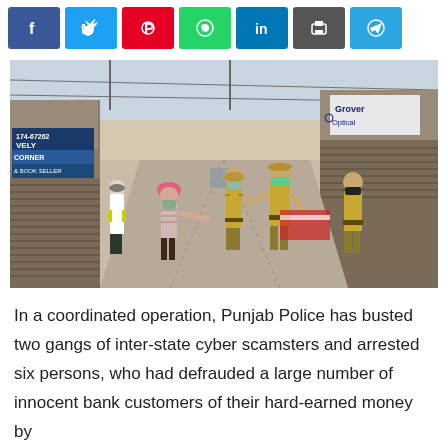[Figure (other): Social media share buttons: Facebook, Twitter, Pinterest, WhatsApp, LinkedIn, Print, Telegram]
[Figure (photo): Street scene in India showing police officers in khaki uniforms and face masks interacting with a civilian wearing a pink turban and striped shirt. Shops are shuttered along a market street. One officer appears to be handing something to the civilian. Another officer in white shirt and yellow gloves stands to the left. Signs visible include 'Grover Optical' and 'LOVELY CORNER & BOOK SELLER'.]
In a coordinated operation, Punjab Police has busted two gangs of inter-state cyber scamsters and arrested six persons, who had defrauded a large number of innocent bank customers of their hard-earned money by